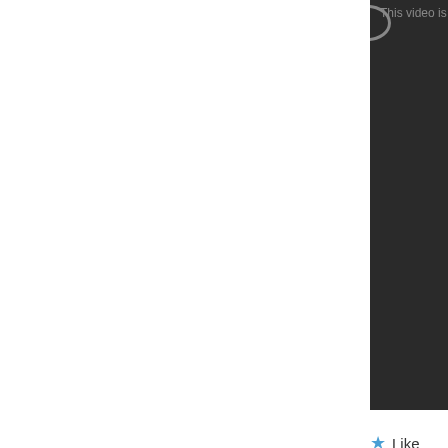[Figure (screenshot): Dark video player area with 'This video is' text visible at top right]
★ Like
Reply
eliihass says:
June 21, 2017 at 9:36 pm
https://m.youtube.com/watch?v=NMg—JD86U
https://m.youtube.com/watch?v=wvMWBP7d2RU